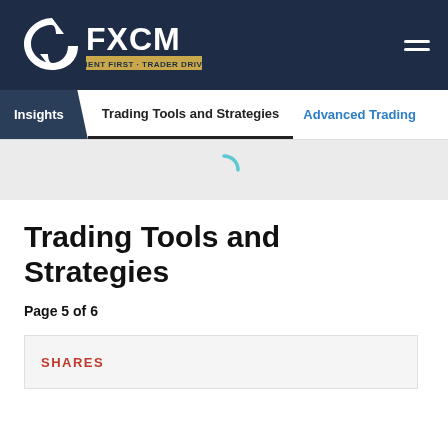FXCM – CLIENT FIRST · TRADER DRIVEN
Insights  Trading Tools and Strategies  Advanced Trading
Trading Tools and Strategies
Page 5 of 6
SHARES